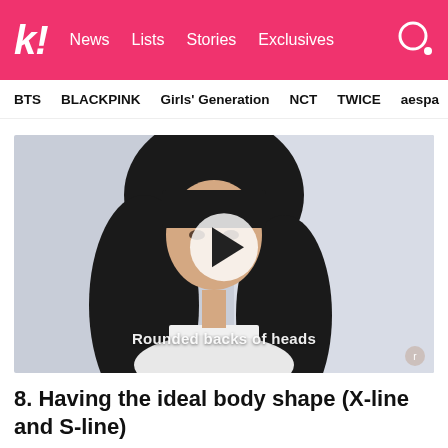k! News Lists Stories Exclusives
BTS BLACKPINK Girls' Generation NCT TWICE aespa
[Figure (screenshot): Video thumbnail showing a woman with long dark hair and bangs against a light background. A circular play button overlay is centered on the image. A subtitle reads 'Rounded backs of heads' at the bottom of the video frame.]
8. Having the ideal body shape (X-line and S-line)